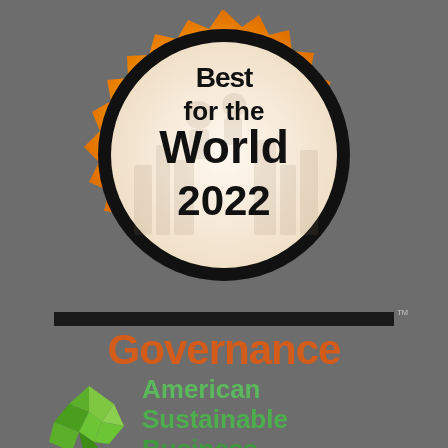[Figure (logo): B Corp 'Best for the World 2022' award badge — a gold/orange starburst seal with a white circle center, containing bold black text reading 'for the World 2022' with faint illustrated background (people and buildings). Top of circle has 'Best' partially cut off.]
Governance
[Figure (logo): American Sustainable Business logo — green geometric shattered/faceted shape on the left, with green bold text 'American Sustainable Business' on the right.]